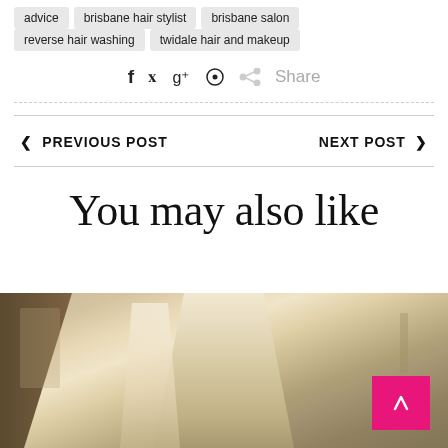advice
brisbane hair stylist
brisbane salon
reverse hair washing
twidale hair and makeup
f  ✓  g+  ⊕  ⋲  Share
< PREVIOUS POST    NEXT POST >
You may also like
[Figure (photo): Photo of a woman with blonde highlighted hair in a salon setting]